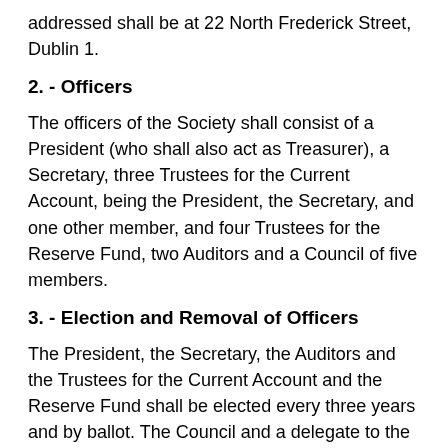addressed shall be at 22 North Frederick Street, Dublin 1.
2. - Officers
The officers of the Society shall consist of a President (who shall also act as Treasurer), a Secretary, three Trustees for the Current Account, being the President, the Secretary, and one other member, and four Trustees for the Reserve Fund, two Auditors and a Council of five members.
3. - Election and Removal of Officers
The President, the Secretary, the Auditors and the Trustees for the Current Account and the Reserve Fund shall be elected every three years and by ballot. The Council and a delegate to the Dublin Council of Trade Unions shall be elected every two years and by ballot.
The nominations shall take place at the first Quarterly General Meeting of the relevant year.
Candidates for office shall be selected from amongst the